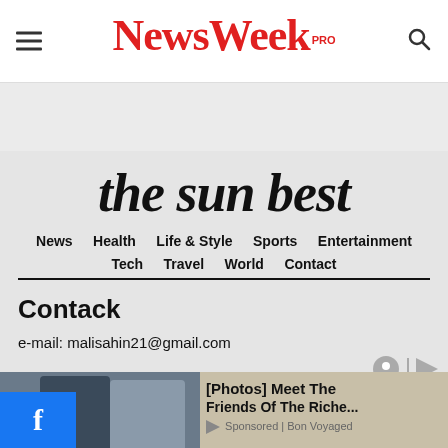NewsWeek PRO
the sun best
News  Health  Life & Style  Sports  Entertainment  Tech  Travel  World  Contact
Contack
e-mail: malisahin21@gmail.com
[Figure (screenshot): Ad overlay showing a photo of people with text [Photos] Meet The Friends Of The Riche... Sponsored | Bon Voyaged, with a Facebook badge on the left]